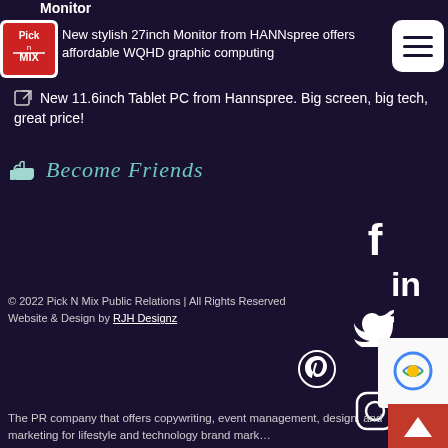[Figure (logo): Pick N Mix logo badge - red and white square logo with text 'Pick n MIX']
[Figure (other): Hamburger menu icon - white rounded square with three horizontal lines]
Monitor
New stylish 27inch Monitor from HANNspree offers affordable WQHD graphic computing
New 11.6inch Tablet PC from Hannspree. Big screen, big tech, great price!
👍 Become Friends
[Figure (other): Social media icons: Facebook, LinkedIn, Twitter, YouTube, Pinterest, Instagram arranged on dark background]
© 2022 Pick N Mix Public Relations | All Rights Reserved
Website & Design by RJH Designz
The PR company that offers copywriting, event management, design, and marketing for lifestyle and technology brand mark...